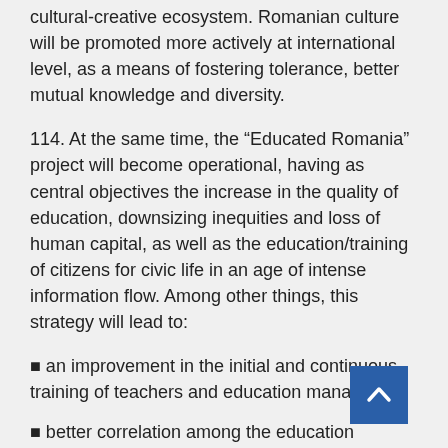cultural-creative ecosystem. Romanian culture will be promoted more actively at international level, as a means of fostering tolerance, better mutual knowledge and diversity.
114. At the same time, the “Educated Romania” project will become operational, having as central objectives the increase in the quality of education, downsizing inequities and loss of human capital, as well as the education/training of citizens for civic life in an age of intense information flow. Among other things, this strategy will lead to:
■ an improvement in the initial and continuous training of teachers and education managers;
■ better correlation among the education system, research and the labour market;
■ reducing the quality gaps between urban and rural areas